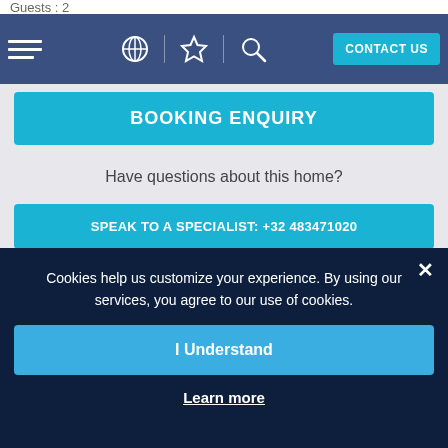Guests: 2
[Figure (screenshot): Navigation bar with hamburger menu, globe icon, star icon, search icon, and CONTACT US button on blue background]
BOOKING ENQUIRY
Have questions about this home?
SPEAK TO A SPECIALIST: +32 483471020
OTHER VILLAS
Cookies help us customize your experience. By using our services, you agree to our use of cookies.
I Understand
Learn more